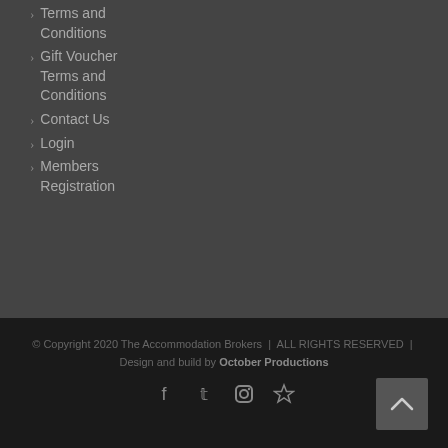Terms and Conditions
Gift Voucher Terms and Conditions
Contact Us
Login
Members Registration
© Copyright 2020 The Accommodation Brokers | ALL RIGHTS RESERVED | Design and build by October Productions